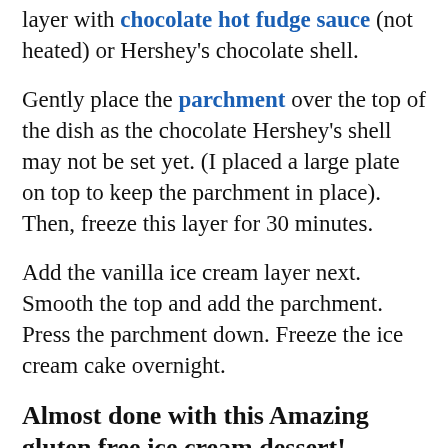layer with chocolate hot fudge sauce (not heated) or Hershey's chocolate shell.
Gently place the parchment over the top of the dish as the chocolate Hershey's shell may not be set yet. (I placed a large plate on top to keep the parchment in place). Then, freeze this layer for 30 minutes.
Add the vanilla ice cream layer next. Smooth the top and add the parchment. Press the parchment down. Freeze the ice cream cake overnight.
Almost done with this Amazing gluten free ice cream dessert!